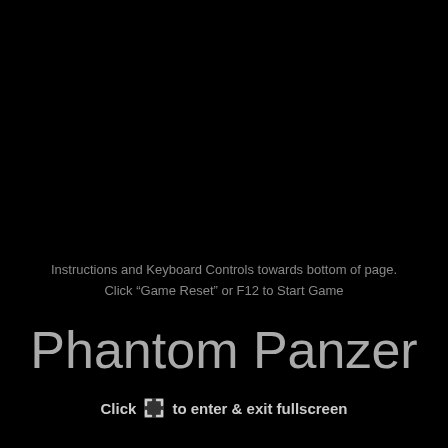Instructions and Keyboard Controls towards bottom of page.
Click “Game Reset” or F12 to Start Game
Phantom Panzer
Click [icon] to enter & exit fullscreen